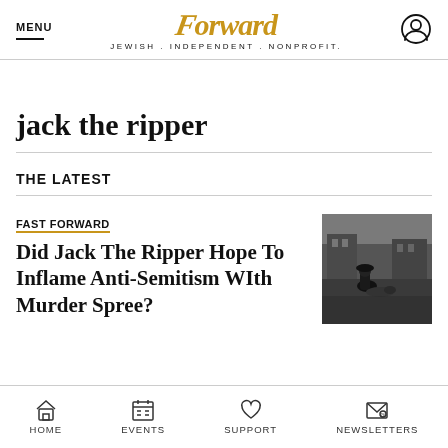MENU | Forward JEWISH . INDEPENDENT . NONPROFIT.
jack the ripper
THE LATEST
FAST FORWARD
Did Jack The Ripper Hope To Inflame Anti-Semitism WIth Murder Spree?
[Figure (photo): Black and white historical photograph showing a figure in dark clothing bending over another figure on the ground in a street scene]
HOME   EVENTS   SUPPORT   NEWSLETTERS